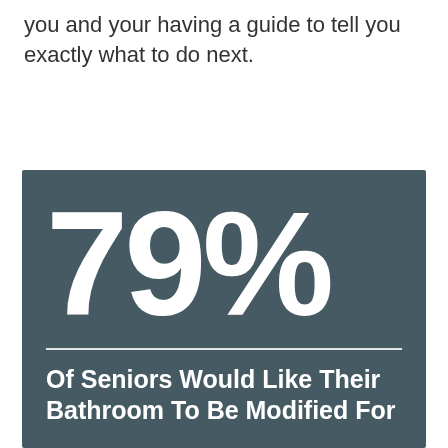you and your having a guide to tell you exactly what to do next.
[Figure (infographic): Dark teal/slate colored infographic box displaying the statistic '79%' in large white bold text, followed by a horizontal dividing line, then the text 'Of Seniors Would Like Their Bathroom To Be Modified For Safety' in white bold text.]